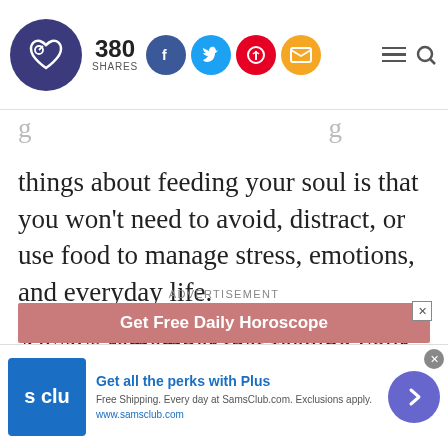380 SHARES
things about feeding your soul is that you won't need to avoid, distract, or use food to manage stress, emotions, and everyday life.

Always remember that feeding your soul is just as important as feeding your body.
ADVERTISEMENT
[Figure (screenshot): Pink/rose colored advertisement banner reading 'Get Free Daily Horoscope' with a close button]
[Figure (screenshot): Sticky bottom ad for Sam's Club Plus membership: 'Get all the perks with Plus. Free Shipping. Every day at SamsClub.com. Exclusions apply. www.samsclub.com']